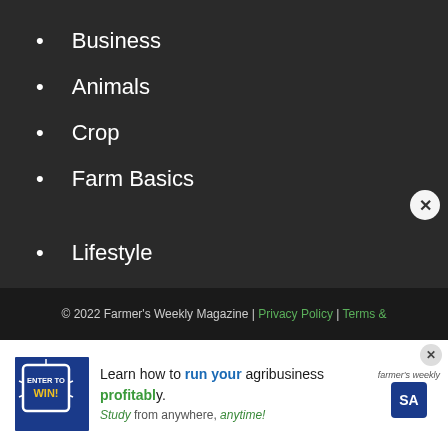Business
Animals
Crop
Farm Basics
Lifestyle
Auctions
Watch
© 2022 Farmer's Weekly Magazine | Privacy Policy | Terms &
[Figure (infographic): Advertisement banner: 'Learn how to run your agribusiness profitably. Study from anywhere, anytime!' with Enter to Win badge and Farmer's Weekly logo.]